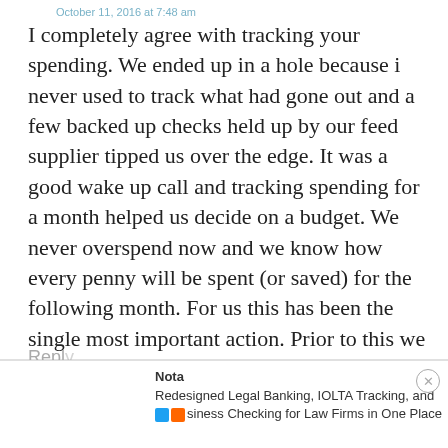October 11, 2016 at 7:48 am
I completely agree with tracking your spending. We ended up in a hole because i never used to track what had gone out and a few backed up checks held up by our feed supplier tipped us over the edge. It was a good wake up call and tracking spending for a month helped us decide on a budget. We never overspend now and we know how every penny will be spent (or saved) for the following month. For us this has been the single most important action. Prior to this we were literally spending as though we were in government and never having a clue as to where we had gone wrong!
Reply
Nota
Redesigned Legal Banking, IOLTA Tracking, and siness Checking for Law Firms in One Place